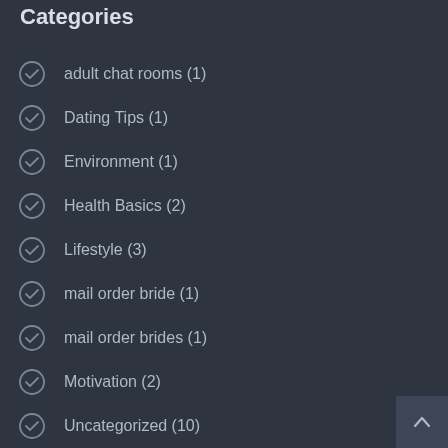Categories
adult chat rooms (1)
Dating Tips (1)
Environment (1)
Health Basics (2)
Lifestyle (3)
mail order bride (1)
mail order brides (1)
Motivation (2)
Uncategorized (10)